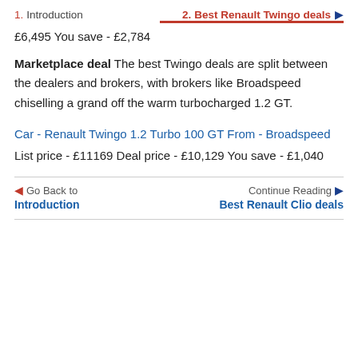1. Introduction  2. Best Renault Twingo deals ▶
£6,495 You save - £2,784
Marketplace deal The best Twingo deals are split between the dealers and brokers, with brokers like Broadspeed chiselling a grand off the warm turbocharged 1.2 GT.
Car - Renault Twingo 1.2 Turbo 100 GT From - Broadspeed List price - £11169 Deal price - £10,129 You save - £1,040
◀ Go Back to Introduction  Continue Reading ▶ Best Renault Clio deals